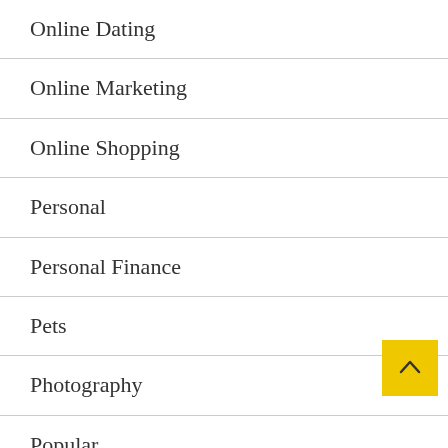Online Dating
Online Marketing
Online Shopping
Personal
Personal Finance
Pets
Photography
Popular
Printing Material